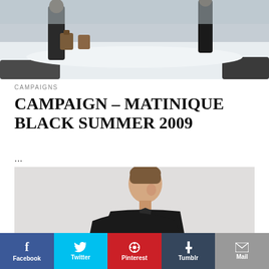[Figure (photo): Campaign photo showing people in a snowy landscape with luggage, wearing dark coats]
CAMPAIGNS
CAMPAIGN – MATINIQUE BLACK SUMMER 2009
...
[Figure (photo): Fashion campaign photo of a young man in a black mandarin collar shirt against a light grey background]
f Facebook | Twitter | Pinterest | Tumblr | Mail